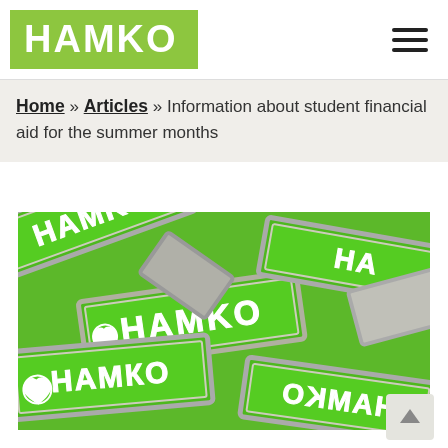HAMKO
Home » Articles » Information about student financial aid for the summer months
[Figure (photo): Multiple green and white embroidered HAMKO logo patches scattered on a surface, photographed from above at an angle.]